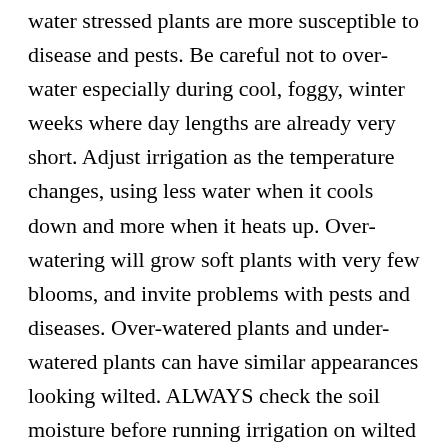water stressed plants are more susceptible to disease and pests. Be careful not to over-water especially during cool, foggy, winter weeks where day lengths are already very short. Adjust irrigation as the temperature changes, using less water when it cools down and more when it heats up. Over-watering will grow soft plants with very few blooms, and invite problems with pests and diseases. Over-watered plants and under-watered plants can have similar appearances looking wilted. ALWAYS check the soil moisture before running irrigation on wilted plants to make sure they are indeed too dry, and not actually too wet. Many problems can be avoided by properly irrigating your annual beds from the very first watering.